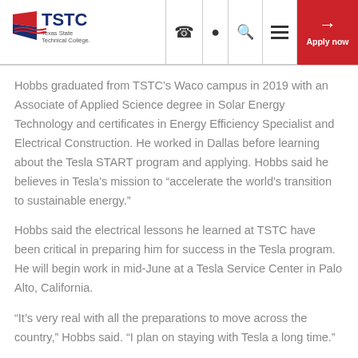[Figure (logo): TSTC Texas State Technical College logo with navigation bar including phone, location, search, menu icons and Apply now button]
Hobbs graduated from TSTC's Waco campus in 2019 with an Associate of Applied Science degree in Solar Energy Technology and certificates in Energy Efficiency Specialist and Electrical Construction. He worked in Dallas before learning about the Tesla START program and applying. Hobbs said he believes in Tesla's mission to “aggrieving the world's transition to sustainable energy.”
Hobbs said the electrical lessons he learned at TSTC have been critical in preparing him for success in the Tesla program. He will begin work in mid-June at a Tesla Service Center in Palo Alto, California.
“It’s very real with all the preparations to move across the country,” Hobbs said. “I plan on staying with Tesla a long time.”
McCain learned about automotive technology at a college in